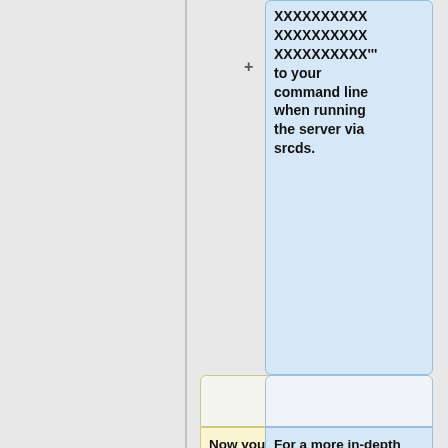XXXXXXXXXXXXXXXXXXXXXXXXXXXXXXXXXX''' to your command line when running the server via srcds.
Now you should be able to navigate to the srcds.exe file and use: srcds.exe -console -game nmrih +map nms_deadend
For a more in-depth information of what the Game Server Login Token (GSLT) is and does visit [https://docs.linuxgsm.com/steamcmd/gslt#what-is-gslt LinuxGSM - What is GSLT?]